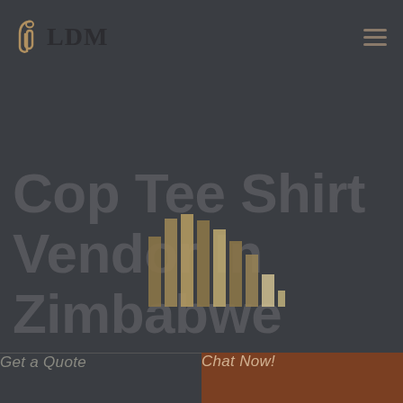[Figure (logo): LDM logo with a paperclip/safety pin icon in gold/tan color on the left and the text LDM in dark serif bold font]
Cop Tee Shirt Vendor In Zimbabwe
[Figure (bar-chart): Decorative bar chart graphic overlaid on the hero text, bars in gold/tan and white tones, varying heights]
Get a Quote
Chat Now!